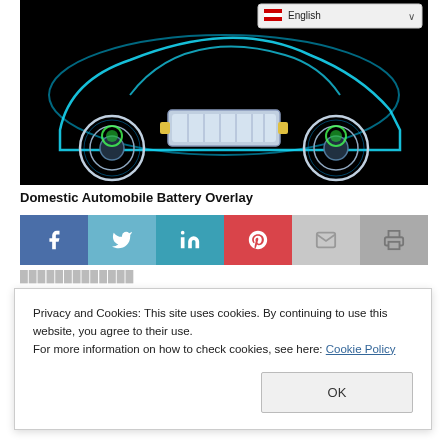[Figure (illustration): Dark background illustration of an electric vehicle cutaway/overlay showing the battery pack in the center floor, glowing blue neon outline of the car body, and highlighted green electric motors at both wheel hubs. A language selector showing an English/US flag and dropdown is overlaid in the top right corner.]
Domestic Automobile Battery Overlay
[Figure (infographic): Social sharing button bar with six icons: Facebook (dark blue), Twitter (light blue), LinkedIn (teal), Pinterest (red), Email (light gray), Print (gray)]
Privacy and Cookies: This site uses cookies. By continuing to use this website, you agree to their use.
For more information on how to check cookies, see here: Cookie Policy